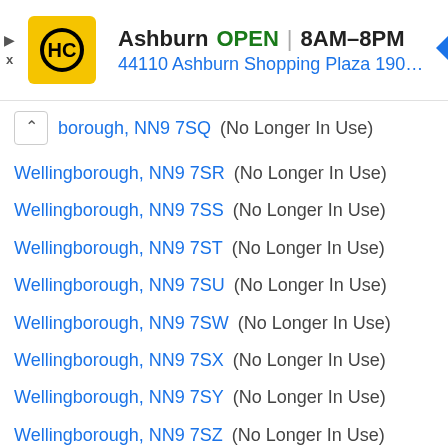[Figure (screenshot): Advertisement banner for HC (Hammer & Chisel) store in Ashburn, showing OPEN status, hours 8AM-8PM, address 44110 Ashburn Shopping Plaza 190, A..., with navigation arrow icon and ad close controls]
borough, NN9 7SQ (No Longer In Use)
Wellingborough, NN9 7SR (No Longer In Use)
Wellingborough, NN9 7SS (No Longer In Use)
Wellingborough, NN9 7ST (No Longer In Use)
Wellingborough, NN9 7SU (No Longer In Use)
Wellingborough, NN9 7SW (No Longer In Use)
Wellingborough, NN9 7SX (No Longer In Use)
Wellingborough, NN9 7SY (No Longer In Use)
Wellingborough, NN9 7SZ (No Longer In Use)
Wellingborough, NN9 7TA (No Longer In Use)
Wellingborough, NN9 7TB (No Longer In Use)
Wellingborough, NN9 7TD (No Longer In Use)